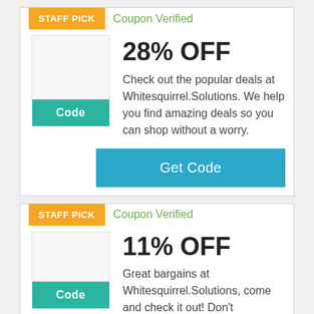STAFF PICK
Coupon Verified
28% OFF
Check out the popular deals at Whitesquirrel.Solutions. We help you find amazing deals so you can shop without a worry.
Code
Get Code
STAFF PICK
Coupon Verified
11% OFF
Great bargains at Whitesquirrel.Solutions, come and check it out! Don't
Code